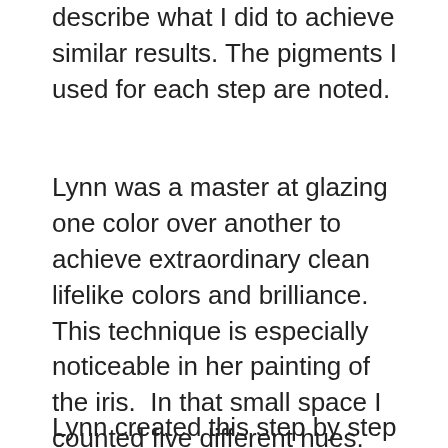describe what I did to achieve similar results. The pigments I used for each step are noted.
Lynn was a master at glazing one color over another to achieve extraordinary clean lifelike colors and brilliance.  This technique is especially noticeable in her painting of the iris.  In that small space I counted five different hues.  There is so much to learn by simply studying this demo that words are scarcely needed.
Lynn created this step by step for her portrait